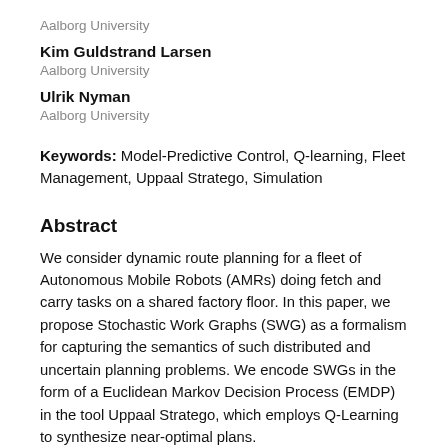Aalborg University
Kim Guldstrand Larsen
Aalborg University
Ulrik Nyman
Aalborg University
Keywords: Model-Predictive Control, Q-learning, Fleet Management, Uppaal Stratego, Simulation
Abstract
We consider dynamic route planning for a fleet of Autonomous Mobile Robots (AMRs) doing fetch and carry tasks on a shared factory floor. In this paper, we propose Stochastic Work Graphs (SWG) as a formalism for capturing the semantics of such distributed and uncertain planning problems. We encode SWGs in the form of a Euclidean Markov Decision Process (EMDP) in the tool Uppaal Stratego, which employs Q-Learning to synthesize near-optimal plans.